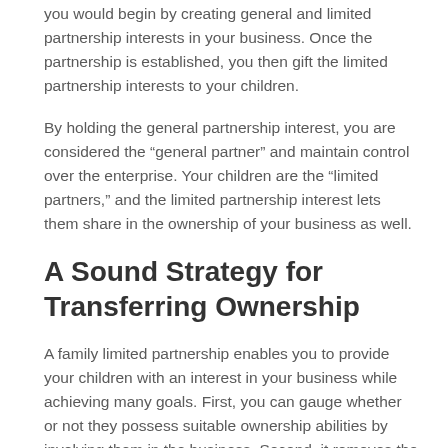you would begin by creating general and limited partnership interests in your business. Once the partnership is established, you then gift the limited partnership interests to your children.
By holding the general partnership interest, you are considered the “general partner” and maintain control over the enterprise. Your children are the “limited partners,” and the limited partnership interest lets them share in the ownership of your business as well.
A Sound Strategy for Transferring Ownership
A family limited partnership enables you to provide your children with an interest in your business while achieving many goals. First, you can gauge whether or not they possess suitable ownership abilities by involving them in the business. Second, it removes the asset from the parents’ estate, thus lowering the